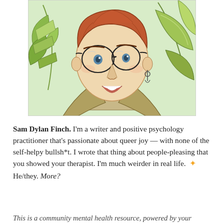[Figure (illustration): Illustrated portrait of Sam Dylan Finch: a person with short reddish-brown hair, round glasses, dangling earrings, an open smile, and a blazer, set against a light green background with tropical leaves.]
Sam Dylan Finch. I'm a writer and positive psychology practitioner that's passionate about queer joy — with none of the self-helpy bullsh*t. I wrote that thing about people-pleasing that you showed your therapist. I'm much weirder in real life. ✦ He/they. More?
This is a community mental health resource, powered by your